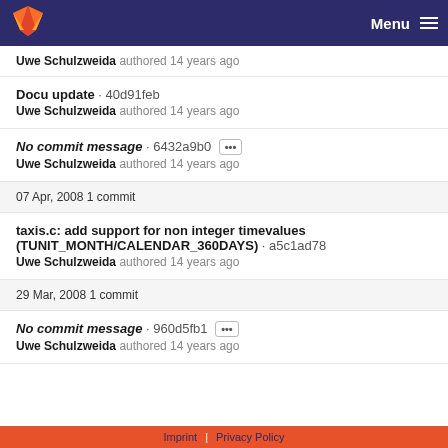GitLab Menu
Uwe Schulzweida authored 14 years ago
Docu update · 40d91feb
Uwe Schulzweida authored 14 years ago
No commit message · 6432a9b0
Uwe Schulzweida authored 14 years ago
07 Apr, 2008 1 commit
taxis.c: add support for non integer timevalues (TUNIT_MONTH/CALENDAR_360DAYS) · a5c1ad78
Uwe Schulzweida authored 14 years ago
29 Mar, 2008 1 commit
No commit message · 960d5fb1
Uwe Schulzweida authored 14 years ago
Imprint | Privacy Policy